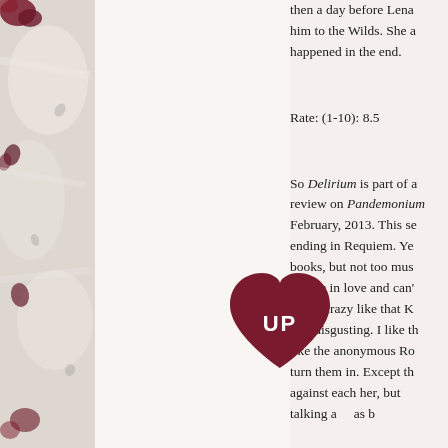[Figure (illustration): Left decorative column showing torn paper texture with dark red/maroon rose petals or flower elements on a light gray-beige background]
then a day before Lena him to the Wilds. She a happened in the end.
Rate: (1-10): 8.5
So Delirium is part of a review on Pandemonium February, 2013. This se ending in Requiem. Ye books, but not too mus they're in love and can' board crazy like that K was disgusting. I like th like the anonymous Ro turn them in. Except th against each her, but talking a as b
Anyw po thanks to her. And I do
[Figure (logo): Dark red heart shape with white text 'UP' inside it, positioned as an overlay watermark]